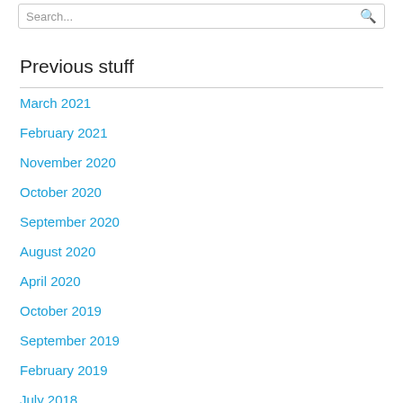Search...
Previous stuff
March 2021
February 2021
November 2020
October 2020
September 2020
August 2020
April 2020
October 2019
September 2019
February 2019
July 2018